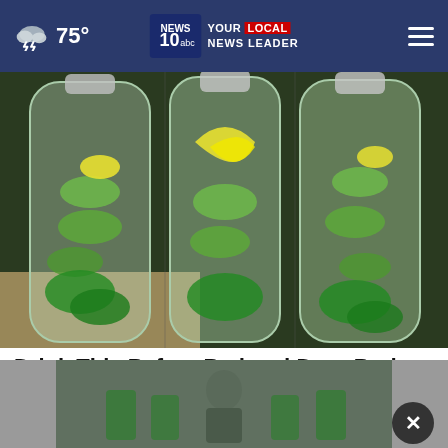75° — NEWS 10 abc YOUR LOCAL NEWS LEADER
[Figure (photo): Three large clear bottles filled with water, cucumber slices, lemon slices, and mint leaves, sitting on a countertop]
Drink This Before Bed and Drop Body Weight Like Crazy
Health...
[Figure (photo): Thumbnail of a person sitting at a table, partially visible, with green chairs in background — advertisement or video preview]